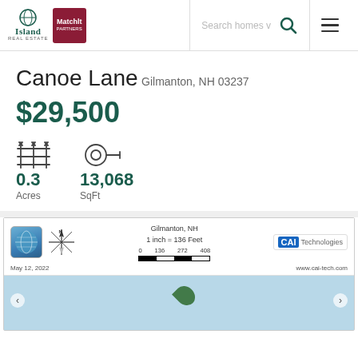[Figure (logo): Island Real Estate and Matchit logos in navigation header]
Canoe Lane
Gilmanton, NH 03237
$29,500
0.3 Acres
13,068 SqFt
[Figure (map): CAI Technologies map of Gilmanton, NH dated May 12, 2022. Scale: 1 inch = 136 Feet. Shows water body in light blue.]